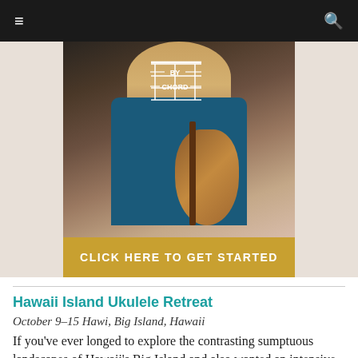≡  🔍
[Figure (photo): Advertisement showing a person playing ukulele with a chord diagram overlay and 'BY CHORD' text, with a golden call-to-action bar reading 'CLICK HERE TO GET STARTED']
Hawaii Island Ukulele Retreat
October 9–15 Hawi, Big Island, Hawaii
If you've ever longed to explore the contrasting sumptuous landscapes of Hawaii's Big Island and also wanted an intensive ukulele learning experience, look